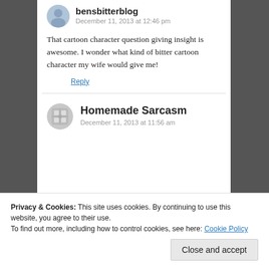bensbitterblog
December 11, 2013 at 12:46 pm
That cartoon character question giving insight is awesome. I wonder what kind of bitter cartoon character my wife would give me!
Reply
Homemade Sarcasm
December 11, 2013 at 11:56 am
Privacy & Cookies: This site uses cookies. By continuing to use this website, you agree to their use. To find out more, including how to control cookies, see here: Cookie Policy
Close and accept